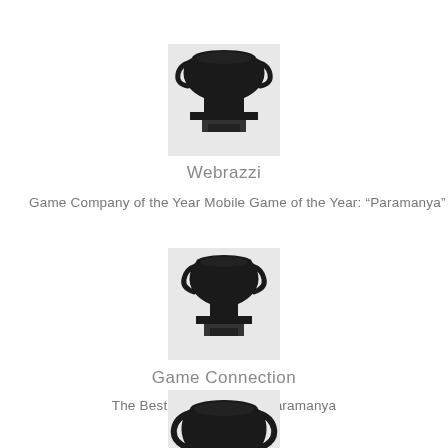[Figure (illustration): Black silhouette trophy icon with light gray background rectangle]
Webrazzi
Game Company of the Year Mobile Game of the Year: “Paramanya”
[Figure (illustration): Black silhouette trophy icon with light gray background rectangle]
Game Connection
The Best PR Campaign: Paramanya
[Figure (illustration): Black silhouette trophy icon with light gray background rectangle]